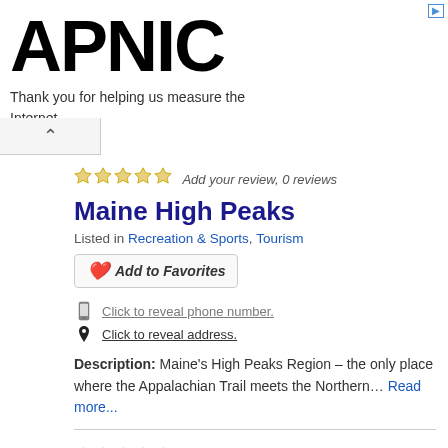APNIC — Thank you for helping us measure the Internet.
Add your review, 0 reviews
Maine High Peaks
Listed in Recreation & Sports, Tourism
Add to Favorites
Click to reveal phone number.
Click to reveal address.
Description: Maine's High Peaks Region – the only place where the Appalachian Trail meets the Northern… Read more...
Add your review, 0 reviews
Moose Loop Cafe & Bakery
Listed in ATV Rentals, Bakeries, Restaurants, Snowmobile Rentals